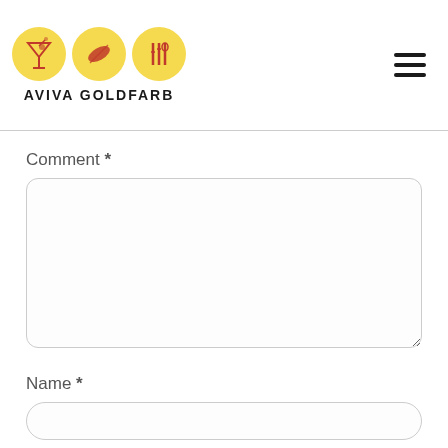[Figure (logo): Aviva Goldfarb logo with three yellow circles containing icons (cocktail glass, feather/pen, fork and knife) and the text AVIVA GOLDFARB below]
Comment *
Name *
Email *